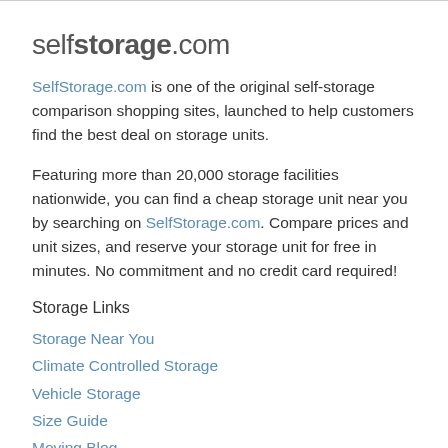selfstorage.com
SelfStorage.com is one of the original self-storage comparison shopping sites, launched to help customers find the best deal on storage units.
Featuring more than 20,000 storage facilities nationwide, you can find a cheap storage unit near you by searching on SelfStorage.com. Compare prices and unit sizes, and reserve your storage unit for free in minutes. No commitment and no credit card required!
Storage Links
Storage Near You
Climate Controlled Storage
Vehicle Storage
Size Guide
Moving Blog
Add Your Facility